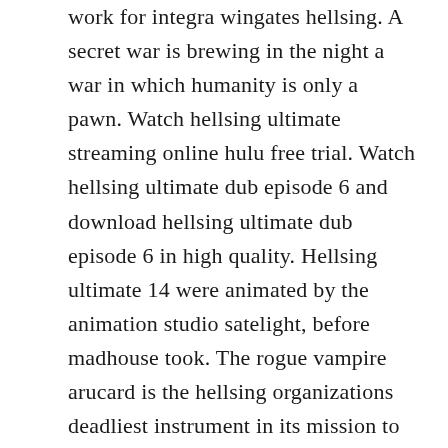work for integra wingates hellsing. A secret war is brewing in the night a war in which humanity is only a pawn. Watch hellsing ultimate streaming online hulu free trial. Watch hellsing ultimate dub episode 6 and download hellsing ultimate dub episode 6 in high quality. Hellsing ultimate 14 were animated by the animation studio satelight, before madhouse took. The rogue vampire arucard is the hellsing organizations deadliest instrument in its mission to protect the british empire from satanic ghouls and nazi freaks.